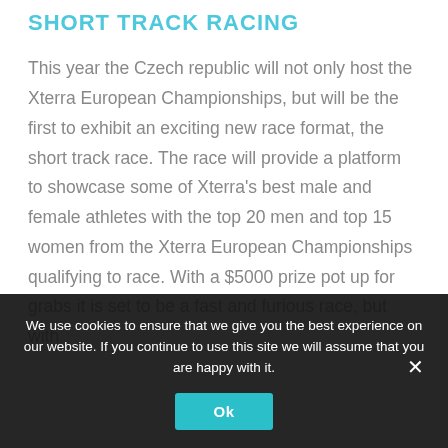SHORT TRACK RACING
This year the Czech republic will not only host the Xterra European Championships, but will be the first to exhibit an exciting new race format, the short track race. The race will provide a platform to showcase some of Xterra’s best male and female athletes with the top 20 men and top 15 women from the Xterra European Championships qualifying to race. With a $5000 prize pot up for grabs it is set to be a fast and furious race, but with
We use cookies to ensure that we give you the best experience on our website. If you continue to use this site we will assume that you are happy with it.